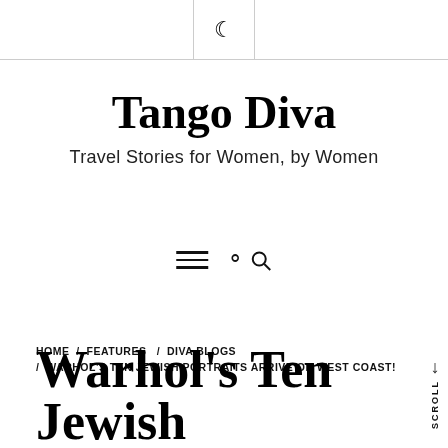🌙 (dark mode / moon icon)
Tango Diva
Travel Stories for Women, by Women
[Figure (other): Navigation icons: hamburger menu and search icon]
HOME / FEATURES / DIVA BLOGS / WARHOL'S TEN JEWISH PORTRAITS ARRIVE ON WEST COAST!
Warhol's Ten Jewish